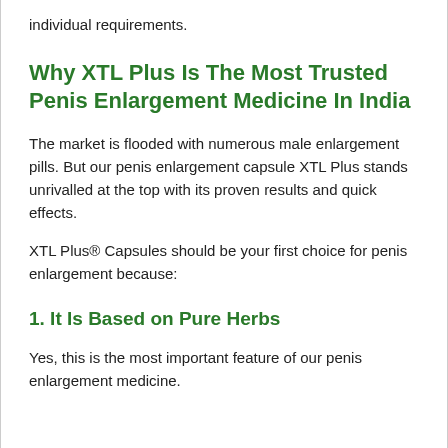individual requirements.
Why XTL Plus Is The Most Trusted Penis Enlargement Medicine In India
The market is flooded with numerous male enlargement pills. But our penis enlargement capsule XTL Plus stands unrivalled at the top with its proven results and quick effects.
XTL Plus® Capsules should be your first choice for penis enlargement because:
1. It Is Based on Pure Herbs
Yes, this is the most important feature of our penis enlargement medicine.